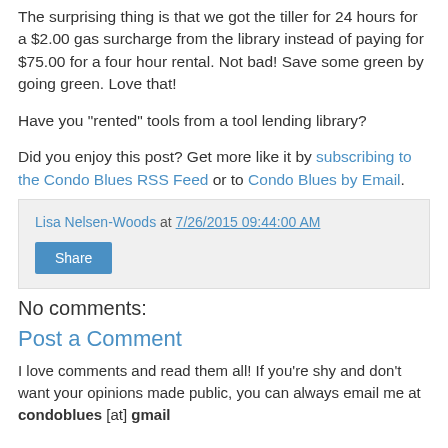The surprising thing is that we got the tiller for 24 hours for a $2.00 gas surcharge from the library instead of paying for $75.00 for a four hour rental. Not bad! Save some green by going green. Love that!
Have you "rented" tools from a tool lending library?
Did you enjoy this post? Get more like it by subscribing to the Condo Blues RSS Feed or to Condo Blues by Email.
Lisa Nelsen-Woods at 7/26/2015 09:44:00 AM
Share
No comments:
Post a Comment
I love comments and read them all! If you're shy and don't want your opinions made public, you can always email me at condoblues [at] gmail